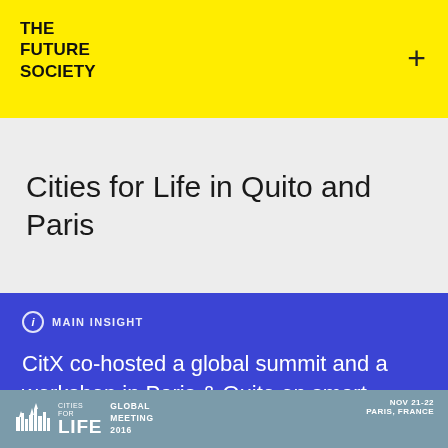THE FUTURE SOCIETY
Cities for Life in Quito and Paris
MAIN INSIGHT
CitX co-hosted a global summit and a workshop in Paris & Quito on smart, inclusive and resilient cities in collaboration with the mayors of Paris and Medellin in Mexico.
CITIES FOR LIFE GLOBAL MEETING 2016 NOV 21-22 PARIS, FRANCE